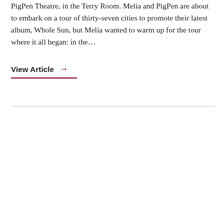PigPen Theatre, in the Terry Room. Melia and PigPen are about to embark on a tour of thirty-seven cities to promote their latest album, Whole Sun, but Melia wanted to warm up for the tour where it all began: in the…
View Article →